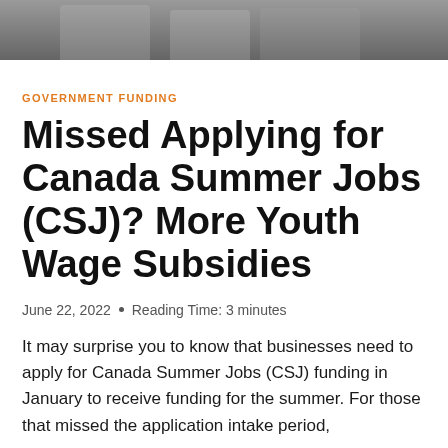[Figure (photo): Partial photo strip at top of page showing people in a meeting or office setting, cropped]
GOVERNMENT FUNDING
Missed Applying for Canada Summer Jobs (CSJ)? More Youth Wage Subsidies
June 22, 2022 • Reading Time: 3 minutes
It may surprise you to know that businesses need to apply for Canada Summer Jobs (CSJ) funding in January to receive funding for the summer. For those that missed the application intake period,